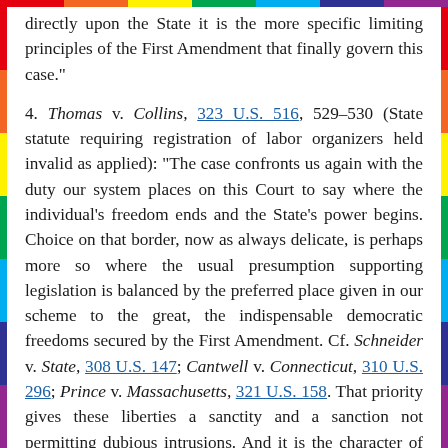directly upon the State it is the more specific limiting principles of the First Amendment that finally govern this case."
4. Thomas v. Collins, 323 U.S. 516, 529-530 (State statute requiring registration of labor organizers held invalid as applied): "The case confronts us again with the duty our system places on this Court to say where the individual's freedom ends and the State's power begins. Choice on that border, now as always delicate, is perhaps more so where the usual presumption supporting legislation is balanced by the preferred place given in our scheme to the great, the indispensable democratic freedoms secured by the First Amendment. Cf. Schneider v. State, 308 U.S. 147; Cantwell v. Connecticut, 310 U.S. 296; Prince v. Massachusetts, 321 U.S. 158. That priority gives these liberties a sanctity and a sanction not permitting dubious intrusions. And it is the character of the right, not of the limitation, which determines what standard governs the choice.